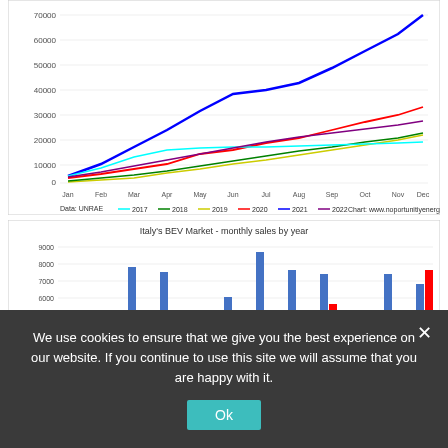[Figure (line-chart): Italy BEV cumulative sales by year]
[Figure (bar-chart): Italy's BEV Market - monthly sales by year]
We use cookies to ensure that we give you the best experience on our website. If you continue to use this site we will assume that you are happy with it.